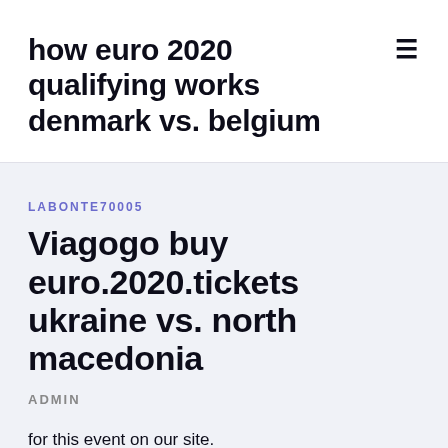how euro 2020 qualifying works denmark vs. belgium
LABONTE70005
Viagogo buy euro.2020.tickets ukraine vs. north macedonia
ADMIN
for this event on our site.